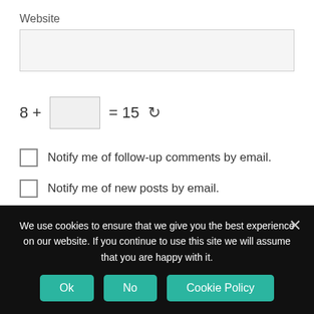Website
[Figure (screenshot): Website text input field (empty, light gray background)]
Notify me of follow-up comments by email.
Notify me of new posts by email.
Post Comment
We use cookies to ensure that we give you the best experience on our website. If you continue to use this site we will assume that you are happy with it.
Ok
No
Cookie Policy